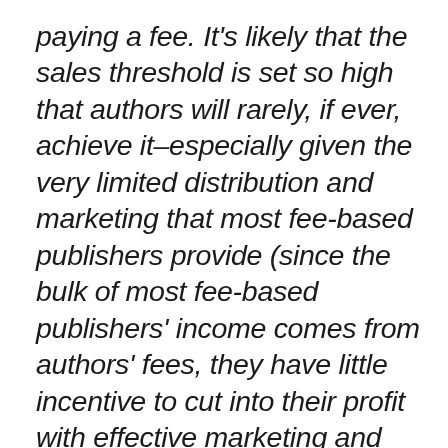paying a fee. It's likely that the sales threshold is set so high that authors will rarely, if ever, achieve it–especially given the very limited distribution and marketing that most fee-based publishers provide (since the bulk of most fee-based publishers' income comes from authors' fees, they have little incentive to cut into their profit with effective marketing and distribution–although some will provide more if you pay extra).